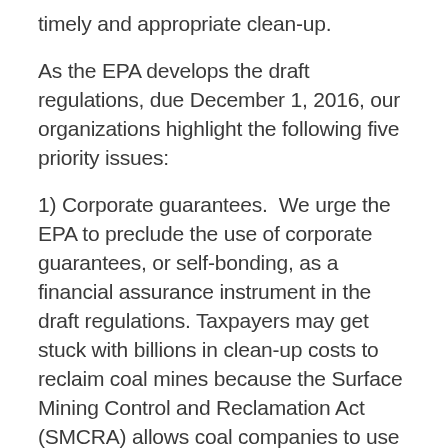timely and appropriate clean-up.
As the EPA develops the draft regulations, due December 1, 2016, our organizations highlight the following five priority issues:
1) Corporate guarantees.  We urge the EPA to preclude the use of corporate guarantees, or self-bonding, as a financial assurance instrument in the draft regulations. Taxpayers may get stuck with billions in clean-up costs to reclaim coal mines because the Surface Mining Control and Reclamation Act (SMCRA) allows coal companies to use corporate guarantees, rather